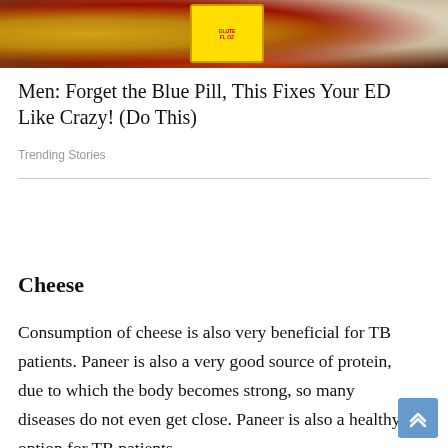[Figure (photo): Photo of supplement/sauce bottles on a table, including a red bottle with a yellow label showing 'GLUTE...' text and a white container in the background]
Men: Forget the Blue Pill, This Fixes Your ED Like Crazy! (Do This)
Trending Stories
Cheese
Consumption of cheese is also very beneficial for TB patients. Paneer is also a very good source of protein, due to which the body becomes strong, so many diseases do not even get close. Paneer is also a healthy option for TB patients.